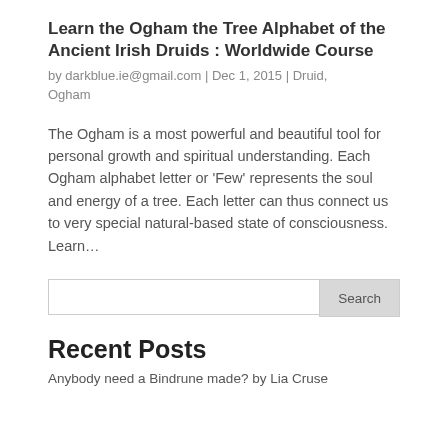Learn the Ogham the Tree Alphabet of the Ancient Irish Druids : Worldwide Course
by darkblue.ie@gmail.com | Dec 1, 2015 | Druid, Ogham
The Ogham is a most powerful and beautiful tool for personal growth and spiritual understanding. Each Ogham alphabet letter or 'Few' represents the soul and energy of a tree. Each letter can thus connect us to very special natural-based state of consciousness. Learn...
[Figure (other): Search input field with a Search button on the right]
Recent Posts
Anybody need a Bindrune made? by Lia Cruse